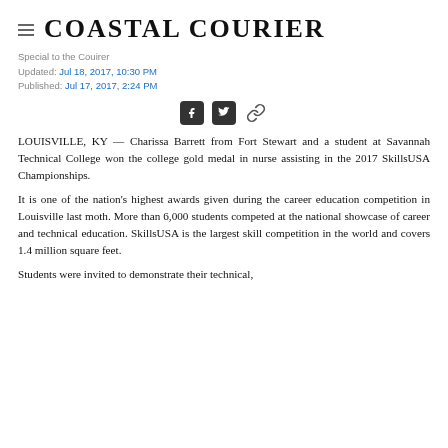Coastal Courier
Special to the Couirer
Updated: Jul 18, 2017, 10:30 PM
Published: Jul 17, 2017, 2:24 PM
[Figure (infographic): Social share icons: Facebook, Twitter, and link/chain icon]
LOUISVILLE, KY — Charissa Barrett from Fort Stewart and a student at Savannah Technical College won the college gold medal in nurse assisting in the 2017 SkillsUSA Championships.
It is one of the nation's highest awards given during the career education competition in Louisville last moth. More than 6,000 students competed at the national showcase of career and technical education. SkillsUSA is the largest skill competition in the world and covers 1.4 million square feet.
Students were invited to demonstrate their technical,